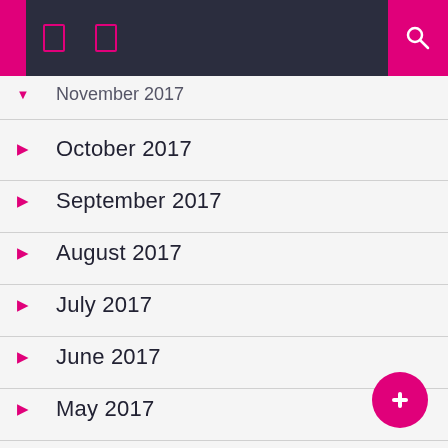November 2017
October 2017
September 2017
August 2017
July 2017
June 2017
May 2017
February 2017
January 2017
December 2016